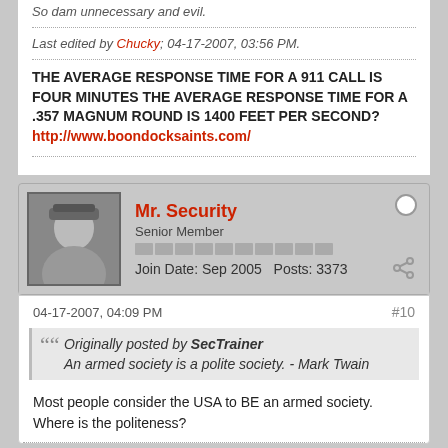So dam unnecessary and evil.
Last edited by Chucky; 04-17-2007, 03:56 PM.
THE AVERAGE RESPONSE TIME FOR A 911 CALL IS FOUR MINUTES THE AVERAGE RESPONSE TIME FOR A .357 MAGNUM ROUND IS 1400 FEET PER SECOND?
http://www.boondocksaints.com/
Mr. Security
Senior Member
Join Date: Sep 2005    Posts: 3373
04-17-2007, 04:09 PM
#10
Originally posted by SecTrainer
An armed society is a polite society. - Mark Twain
Most people consider the USA to BE an armed society. Where is the politeness?